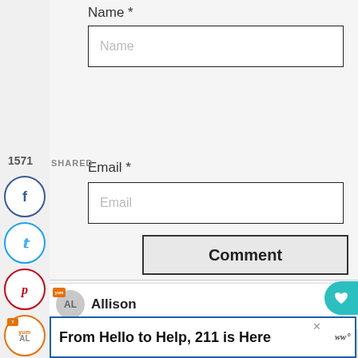Name *
Name (placeholder)
1571
SHARED
Email *
Email (placeholder)
Comment (button)
[Figure (infographic): Social sharing sidebar with Facebook, Twitter, Pinterest, Yummly, and share icons]
1.6K
Allison
November 16, 2017 at 05:41 PM
There’s so much to love about this salad! Great
WHAT’S NEXT → Apple and Pear Spinac...
From Hello to Help, 211 is Here